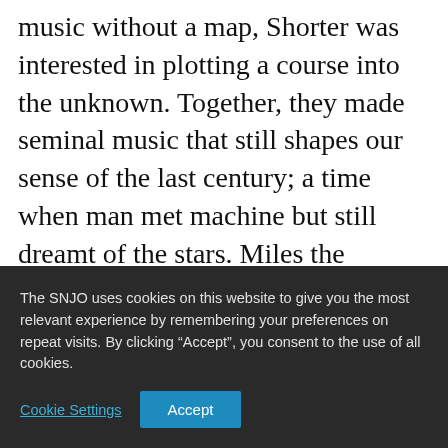music without a map, Shorter was interested in plotting a course into the unknown. Together, they made seminal music that still shapes our sense of the last century; a time when man met machine but still dreamt of the stars. Miles the adventurer and Shorter the cartographer created new charts from nothingness on albums like Kind of Blue and In A Silent Way which were spiritual in conception but technically exacting in their execution.
The SNJO uses cookies on this website to give you the most relevant experience by remembering your preferences on repeat visits. By clicking “Accept”, you consent to the use of all cookies.
Cookie Settings
Accept